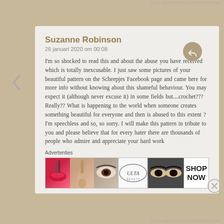DEZE ADVERTENTIE RAPPORTEREN
Suzanne Robinson
26 januari 2020 om 00:08
I'm so shocked to read this and about the abuse you have received which is totally inexcusable. I just saw some pictures of your beautiful pattern on the Scheepjes Facebook page and came here for more info without knowing about this shameful behaviour. You may expect it (although never excuse it) in some fields but....crochet??? Really?? What is happening to the world when someone creates something beautiful for everyone and then is abused to this extent ? I'm speechless and so, so sorry. I will make this pattern in tribute to you and please believe that for every hater there are thousands of people who admire and appreciate your hard work
Advertenties
[Figure (photo): Advertisement banner showing makeup/beauty products with ULTA logo and SHOP NOW call to action]
DEZE ADVERTENTIE RAPPORTEREN